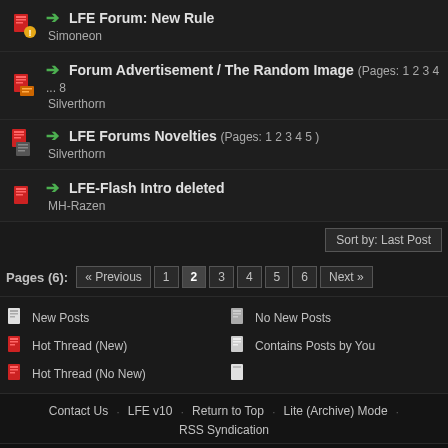→ LFE Forum: New Rule
Simoneon
→ Forum Advertisement / The Random Image (Pages: 1 2 3 4 ... 8)
Silverthorn
→ LFE Forums Novelties (Pages: 1 2 3 4 5)
Silverthorn
→ LFE-Flash Intro deleted
MH-Razen
Sort by: Last Post
Pages (6): « Previous 1 2 3 4 5 6 Next »
New Posts | No New Posts | Hot Thread (New) | Contains Posts by You | Hot Thread (No New)
Contact Us  LFE v10  Return to Top  Lite (Archive) Mode  RSS Syndication
Powered By MyBB, © 2002-2022 MyBB Group. Theme created by Silverthorn.